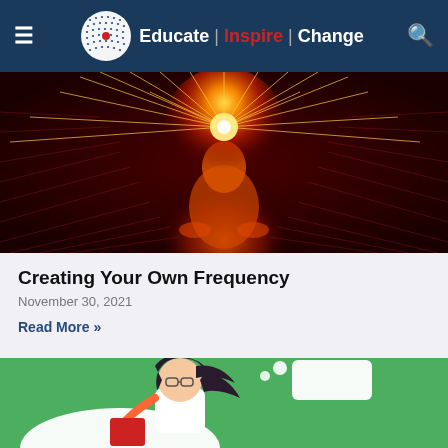Educate | Inspire | Change
[Figure (photo): Digital art illustration of a glowing human figure radiating light from head, with orange and red energy beams spreading outward against a dark red grid background.]
Creating Your Own Frequency
November 30, 2021
Read More »
[Figure (illustration): Cartoon illustration of a woman with glasses and dark hair reading a book, with a thought bubble on a green background.]